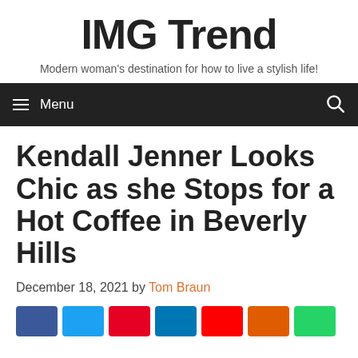IMG Trend
Modern woman's destination for how to live a stylish life!
Menu
Kendall Jenner Looks Chic as she Stops for a Hot Coffee in Beverly Hills
December 18, 2021 by Tom Braun